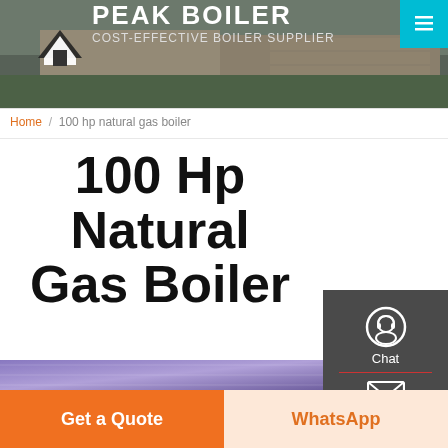[Figure (screenshot): Peak Boiler website header banner with logo, tagline 'COST-EFFECTIVE BOILER SUPPLIER', building photo background, and teal menu button]
Home / 100 hp natural gas boiler
100 Hp Natural Gas Boiler
[Figure (photo): Industrial interior showing metal roof structure, pipes and equipment in a large facility with purple-tinted lighting]
[Figure (infographic): Right sidebar with Chat, Email, and Contact icons on dark background]
Get a Quote
WhatsApp